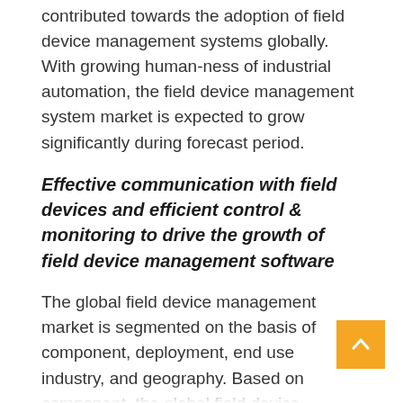contributed towards the adoption of field device management systems globally. With growing human-ness of industrial automation, the field device management system market is expected to grow significantly during forecast period.
Effective communication with field devices and efficient control & monitoring to drive the growth of field device management software
The global field device management market is segmented on the basis of component, deployment, end use industry, and geography. Based on component, the global field device management market is segmented into hardware and software. The field device management software contributed a dominating share to the global field device management market and is anticipated to grow significantly during forecast period. The field device